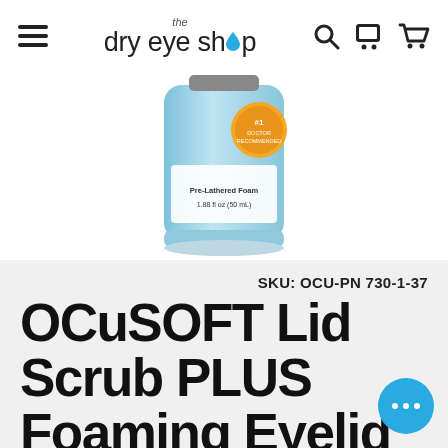the dry eye shop
[Figure (photo): Partial view of OCuSOFT Lid Scrub PLUS Foaming Eyelid Cleanser bottle, showing the blue bottle with '#1 Doctor Recommended' seal and text 'Pre-Lathered Foam 1.88 fl oz (50 mL)']
SKU: OCU-PN 730-1-37
OCuSOFT Lid Scrub PLUS Foaming Eyelid Cleans...